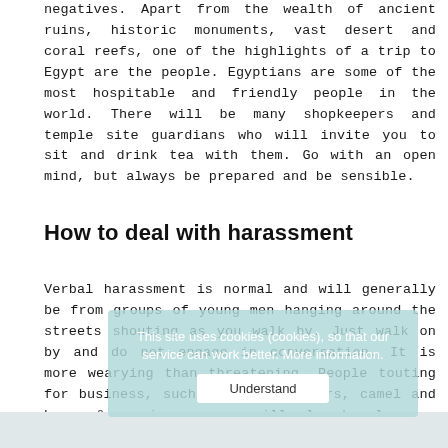negatives. Apart from the wealth of ancient ruins, historic monuments, vast desert and coral reefs, one of the highlights of a trip to Egypt are the people. Egyptians are some of the most hospitable and friendly people in the world. There will be many shopkeepers and temple site guardians who will invite you to sit and drink tea with them. Go with an open mind, but always be prepared and be sensible.
How to deal with harassment
Verbal harassment is normal and will generally be from groups of young men hanging around the streets shouting as you walk by. Just walk on by and do not engage in conversation. It is more wearying than threatening. People touting for business, such as bazaar owners, camel and horse & carriage owners will also hassle you. However, they will hassle everyone including males as well as females as they want to make the sale.